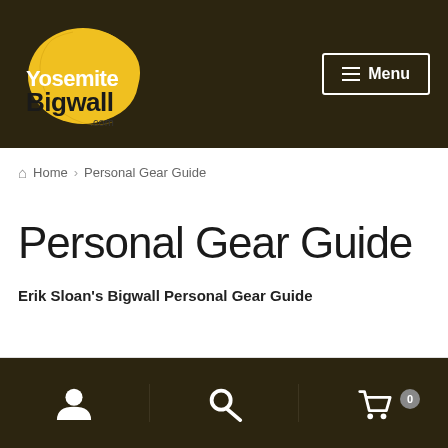YosemiteBigwall.com — Menu
Home > Personal Gear Guide
Personal Gear Guide
Erik Sloan's Bigwall Personal Gear Guide
User icon | Search icon | Cart 0